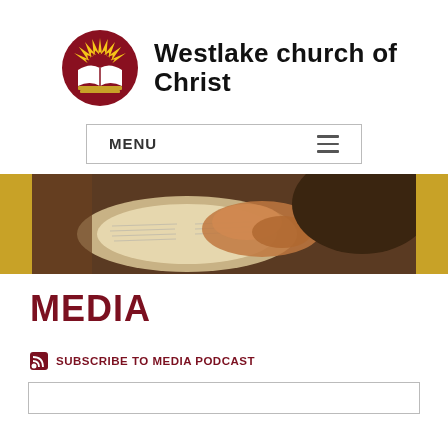[Figure (logo): Westlake church of Christ logo: circular dark red emblem with open book and sunburst, next to site title text]
[Figure (other): Navigation menu bar with MENU text and hamburger icon, bordered rectangle]
[Figure (photo): Hero banner photo showing hands clasped in prayer over an open Bible, with gold side bars]
MEDIA
SUBSCRIBE TO MEDIA PODCAST